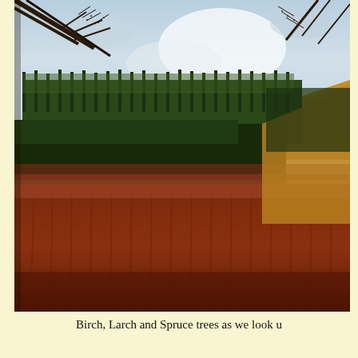[Figure (photo): Autumn forest landscape showing Birch, Larch and Spruce trees on hillsides. Foreground shows warm reddish-brown Larch trees, middle ground has dark green Spruce plantation, and background shows more conifers against a pale blue sky. Bare Birch branches hang from the upper left corner.]
Birch, Larch and Spruce trees as we look u